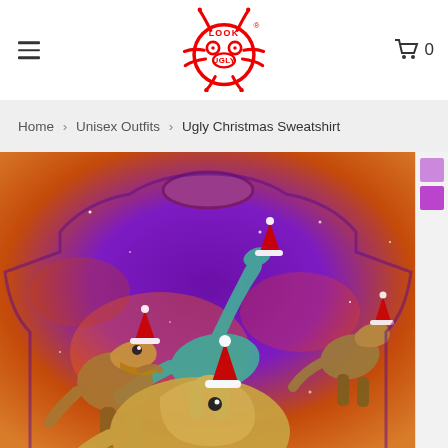[Figure (logo): Look Ugly brand logo in red — stylized creature face with text]
≡
🛒 0
Home › Unisex Outfits › Ugly Christmas Sweatshirt
[Figure (photo): Ugly Christmas sweatshirt with galaxy background pattern featuring dinosaurs wearing Santa hats]